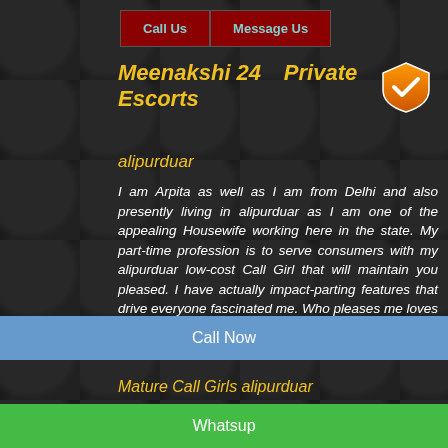Call Us   Message Us
Meenakshi 24   Private Escorts
alipurduar
I am Arpita as well as I am from Delhi and also presently living in alipurduar as I am one of the appealing Housewife working here in the state. My part-time profession is to serve consumers with my alipurduar low-cost Call Girl that will maintain you pleased. I have actually impact-parting features that drive everyone fascinated me. Who pleases me loves me.
Mature Call Girls alipurduar
Call Now
Whatsup